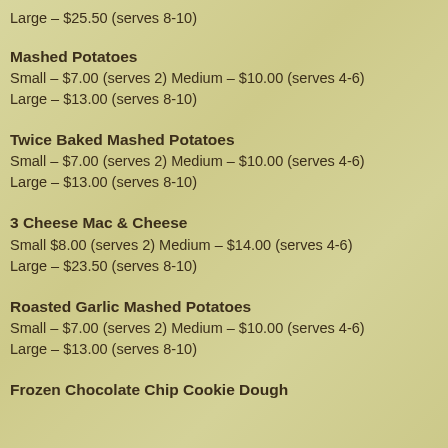Large – $25.50 (serves 8-10)
Mashed Potatoes
Small – $7.00 (serves 2) Medium – $10.00 (serves 4-6)
Large  – $13.00 (serves 8-10)
Twice Baked Mashed Potatoes
Small – $7.00 (serves 2) Medium – $10.00 (serves 4-6)
Large  – $13.00 (serves 8-10)
3 Cheese Mac & Cheese
Small $8.00 (serves 2) Medium – $14.00 (serves 4-6)
Large  – $23.50 (serves 8-10)
Roasted Garlic Mashed Potatoes
Small – $7.00 (serves 2) Medium – $10.00 (serves 4-6)
Large  – $13.00 (serves 8-10)
Frozen Chocolate Chip Cookie Dough